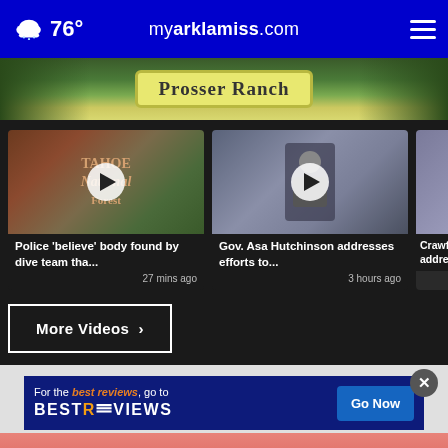76° myarklamiss.com
[Figure (screenshot): Prosser Ranch sign hero image]
[Figure (screenshot): Tahoe National Forest sign video thumbnail with play button]
Police 'believe' body found by dive team tha...
27 mins ago
[Figure (screenshot): Gov. Asa Hutchinson press conference video thumbnail with play button]
Gov. Asa Hutchinson addresses efforts to...
3 hours ago
[Figure (screenshot): Partial third video card - Crawf addre]
More Videos ›
[Figure (screenshot): BestReviews advertisement banner - For the best reviews, go to BESTREVIEWS - Go Now button]